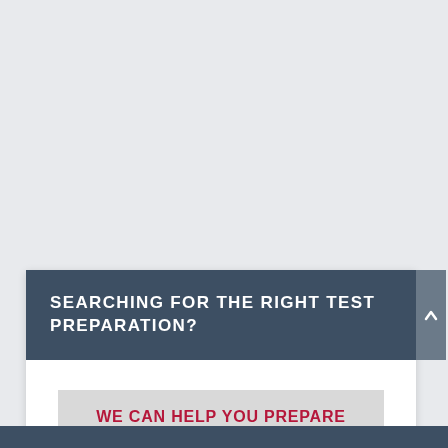SEARCHING FOR THE RIGHT TEST PREPARATION?
WE CAN HELP YOU PREPARE